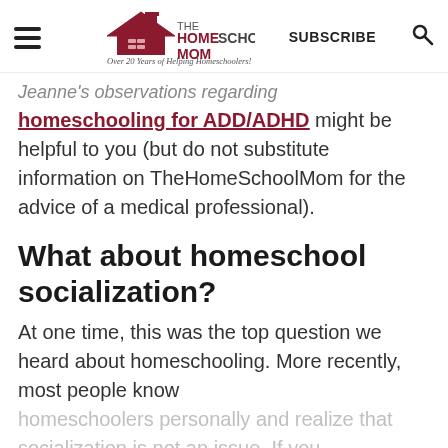THE HOMESCHOOL MOM — Over 20 Years of Helping Homeschoolers! | SUBSCRIBE
Jeanne's observations regarding homeschooling for ADD/ADHD might be helpful to you (but do not substitute information on TheHomeSchoolMom for the advice of a medical professional).
What about homeschool socialization?
At one time, this was the top question we heard about homeschooling. More recently, most people know homeschoolers personally and realize that socialization is not an issue. If you